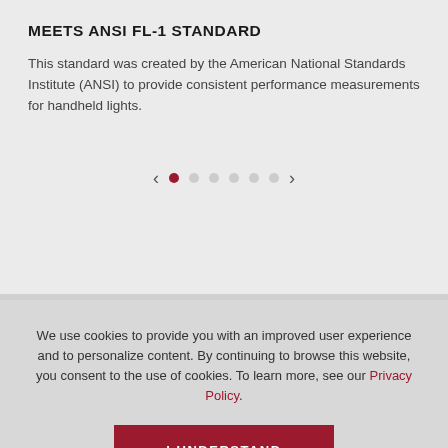MEETS ANSI FL-1 STANDARD
This standard was created by the American National Standards Institute (ANSI) to provide consistent performance measurements for handheld lights.
[Figure (infographic): Pagination control with left arrow, one active dark red dot, five inactive grey dots, and right arrow]
We use cookies to provide you with an improved user experience and to personalize content. By continuing to browse this website, you consent to the use of cookies. To learn more, see our Privacy Policy.
I UNDERSTAND